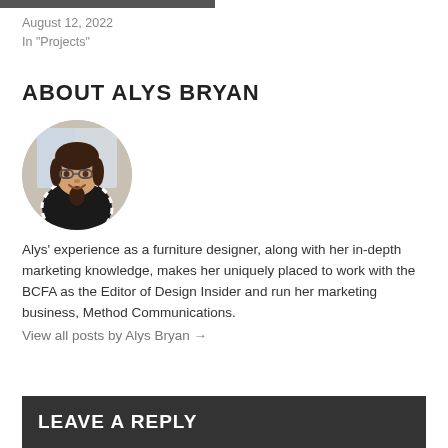August 12, 2022
In "Projects"
ABOUT ALYS BRYAN
[Figure (photo): Circular profile photo of Alys Bryan, a woman with glasses and dark hair, wearing a black and white patterned top, smiling at the camera.]
Alys' experience as a furniture designer, along with her in-depth marketing knowledge, makes her uniquely placed to work with the BCFA as the Editor of Design Insider and run her marketing business, Method Communications.
View all posts by Alys Bryan →
LEAVE A REPLY